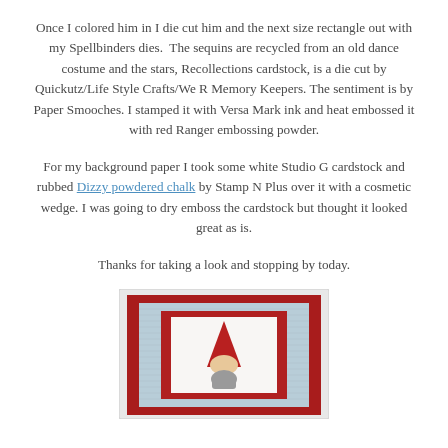Once I colored him in I die cut him and the next size rectangle out with my Spellbinders dies.  The sequins are recycled from an old dance costume and the stars, Recollections cardstock, is a die cut by Quickutz/Life Style Crafts/We R Memory Keepers. The sentiment is by Paper Smooches. I stamped it with Versa Mark ink and heat embossed it with red Ranger embossing powder.
For my background paper I took some white Studio G cardstock and rubbed Dizzy powdered chalk by Stamp N Plus over it with a cosmetic wedge. I was going to dry emboss the cardstock but thought it looked great as is.
Thanks for taking a look and stopping by today.
[Figure (photo): A handmade greeting card with layered cardstock: red border, light blue textured paper, white inner panel, featuring a gnome illustration with a red pointed hat and grey beard.]